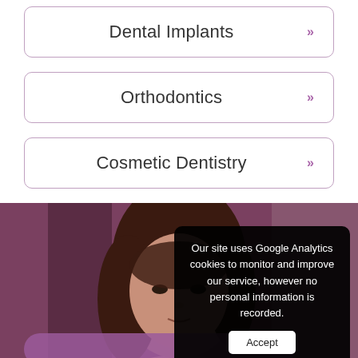Dental Implants »
Orthodontics »
Cosmetic Dentistry »
[Figure (photo): Woman with brown hair photographed from the front against a blurred purple/grey background, with a purple pill-shaped banner at the bottom]
Our site uses Google Analytics cookies to monitor and improve our service, however no personal information is recorded. Accept